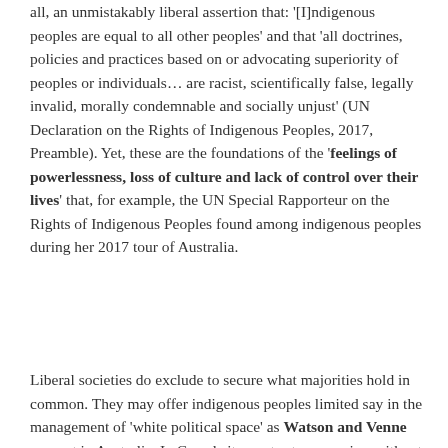all, an unmistakably liberal assertion that: '[I]ndigenous peoples are equal to all other peoples' and that 'all doctrines, policies and practices based on or advocating superiority of peoples or individuals… are racist, scientifically false, legally invalid, morally condemnable and socially unjust' (UN Declaration on the Rights of Indigenous Peoples, 2017, Preamble). Yet, these are the foundations of the 'feelings of powerlessness, loss of culture and lack of control over their lives' that, for example, the UN Special Rapporteur on the Rights of Indigenous Peoples found among indigenous peoples during her 2017 tour of Australia.
Liberal societies do exclude to secure what majorities hold in common. They may offer indigenous peoples limited say in the management of 'white political space' as Watson and Venne suggest in Australia. In Canada it may try to recognise, without threatening its own domination, what the Supreme Court calls 'the pre-existence of Aboriginal societies with the sovereignty of the